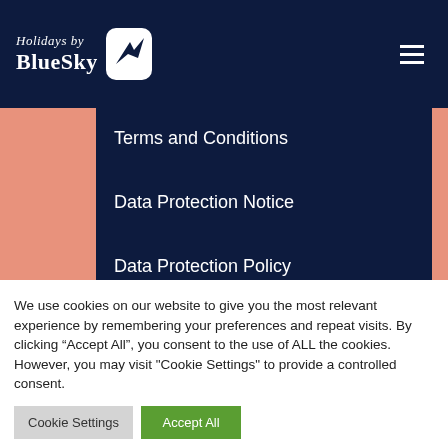Holidays by BlueSky
Terms and Conditions
Data Protection Notice
Data Protection Policy
About Us
Sign up for news and offers
We use cookies on our website to give you the most relevant experience by remembering your preferences and repeat visits. By clicking “Accept All”, you consent to the use of ALL the cookies. However, you may visit "Cookie Settings" to provide a controlled consent.